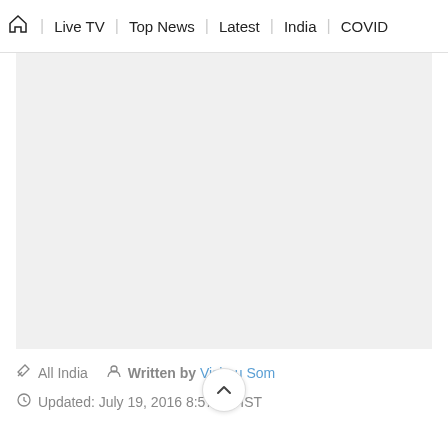🏠 | Live TV | Top News | Latest | India | COVID
[Figure (other): Gray placeholder image area, likely an article image]
✏ All India  👤 Written by Vishnu Som
🕐 Updated: July 19, 2016 8:57 pm IST